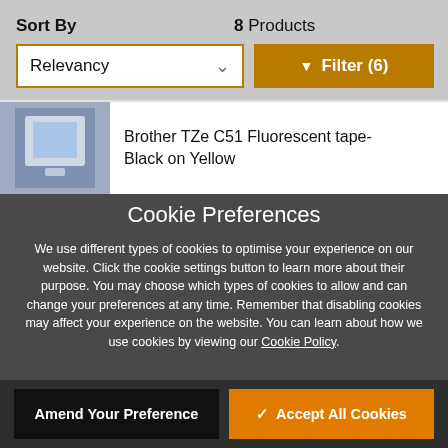Sort By
8 Products
Relevancy
Filter (6)
Brother TZe C51 Fluorescent tape- Black on Yellow
Cookie Preferences
We use different types of cookies to optimise your experience on our website. Click the cookie settings button to learn more about their purpose. You may choose which types of cookies to allow and can change your preferences at any time. Remember that disabling cookies may affect your experience on the website. You can learn about how we use cookies by viewing our Cookie Policy.
Amend Your Preference
Accept All Cookies